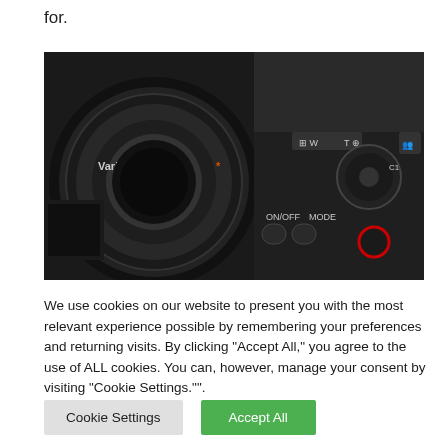for.
[Figure (photo): Close-up photograph of a Sony compact camera showing the Vario-Sonnar T* lens and top controls including ON/OFF, MODE buttons and zoom controls]
We use cookies on our website to present you with the most relevant experience possible by remembering your preferences and returning visits. By clicking "Accept All," you agree to the use of ALL cookies. You can, however, manage your consent by visiting "Cookie Settings."".
Cookie Settings
Accept All